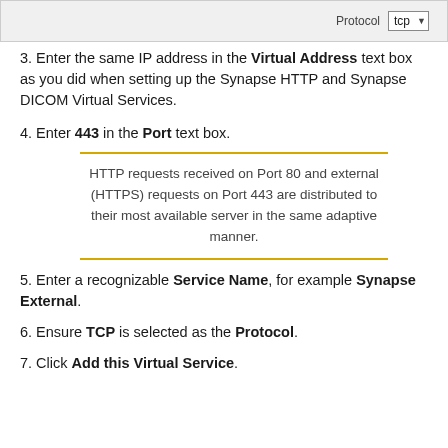[Figure (screenshot): Top portion of a form showing Protocol field with 'tcp' selected in a dropdown]
3. Enter the same IP address in the Virtual Address text box as you did when setting up the Synapse HTTP and Synapse DICOM Virtual Services.
4. Enter 443 in the Port text box.
HTTP requests received on Port 80 and external (HTTPS) requests on Port 443 are distributed to their most available server in the same adaptive manner.
5. Enter a recognizable Service Name, for example Synapse External.
6. Ensure TCP is selected as the Protocol.
7. Click Add this Virtual Service.